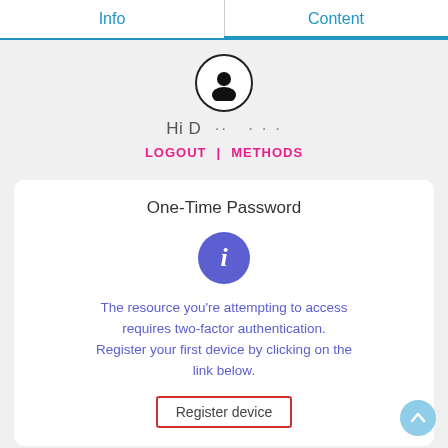Info | Content
[Figure (illustration): User avatar/profile silhouette icon in a circle]
Hi D... ...
LOGOUT | METHODS
One-Time Password
[Figure (illustration): Blue/purple info icon circle with letter i]
The resource you're attempting to access requires two-factor authentication. Register your first device by clicking on the link below.
Register device